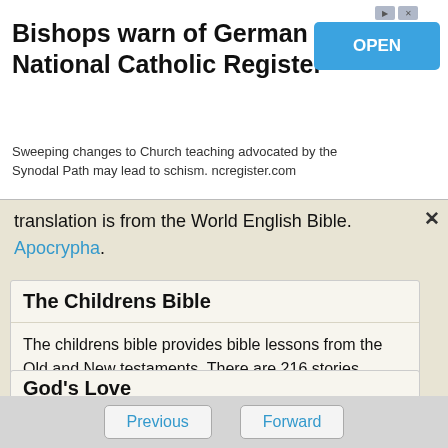[Figure (screenshot): Advertisement banner for National Catholic Register: 'Bishops warn of German schism - National Catholic Register' with OPEN button. Subtitle: 'Sweeping changes to Church teaching advocated by the Synodal Path may lead to schism. ncregister.com']
translation is from the World English Bible. Apocrypha.
The Childrens Bible
The childrens bible provides bible lessons from the Old and New testaments. There are 216 stories written in plain english. The stories are easy to read but not just for childern. I enjoy reading the childrens bible and almost everyone does. The Childrens Bible.
God's Love
Previous
Forward